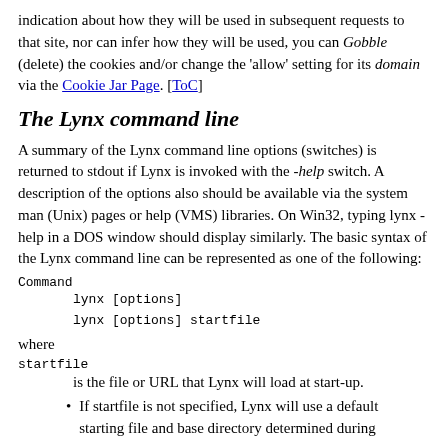indication about how they will be used in subsequent requests to that site, nor can infer how they will be used, you can Gobble (delete) the cookies and/or change the 'allow' setting for its domain via the Cookie Jar Page. [ToC]
The Lynx command line
A summary of the Lynx command line options (switches) is returned to stdout if Lynx is invoked with the -help switch. A description of the options also should be available via the system man (Unix) pages or help (VMS) libraries. On Win32, typing lynx -help in a DOS window should display similarly. The basic syntax of the Lynx command line can be represented as one of the following:
Command
lynx [options]
lynx [options] startfile
where
startfile
is the file or URL that Lynx will load at start-up.
If startfile is not specified, Lynx will use a default starting file and base directory determined during